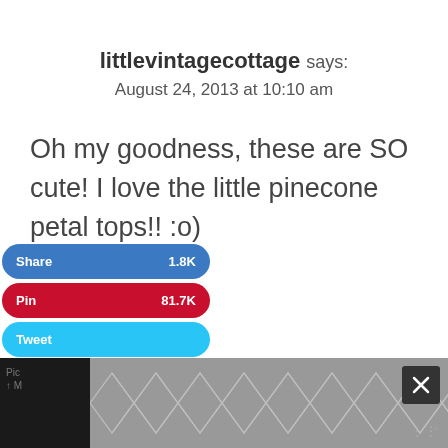littlevintagecottage says:
August 24, 2013 at 10:10 am
Oh my goodness, these are SO cute! I love the little pinecone petal tops!! :o)

Tania
[Figure (screenshot): Social sharing buttons: Share (1.8K) in blue, Pin (81.7K) in red, Tweet in cyan/light blue]
[Figure (infographic): Dark bottom bar with geometric chevron/hexagon pattern in gray, with a close X button on the right and small text on the left]